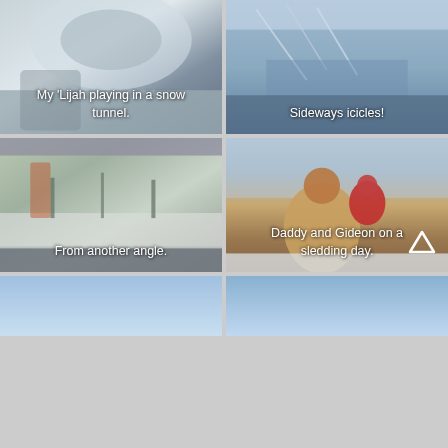[Figure (photo): Close-up of snow tunnel, winter scene]
My 'Lijah playing in a snow tunnel.
[Figure (photo): Sideways icicles on a window or surface, winter scene]
Sideways icicles!
[Figure (photo): Snowy winter landscape viewed from another angle, trees covered in snow]
From another angle.
[Figure (photo): Man with beard holding a young child in a red snowsuit on a snowy sledding day]
Daddy and Gideon on a sledding day.
[Figure (photo): Blue sky winter scene, partially visible]
[Figure (photo): Blue sky winter scene, partially visible]